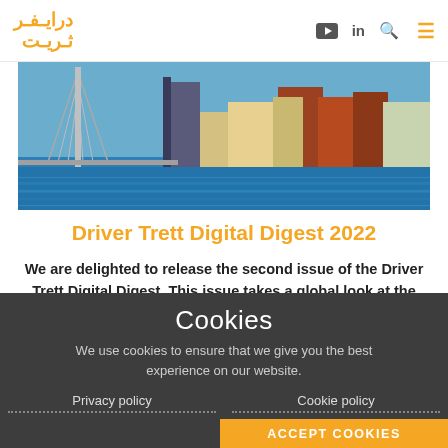درايفر ثريت (Driver Trett logo) with navigation icons
[Figure (photo): Aerial view of Rotterdam city skyline with waterfront, Erasmus bridge and modern buildings]
Driver Trett Digital Digest 2022
We are delighted to release the second issue of the Driver Trett Digital Digest. This issue takes a global look at the most recent trends and
Cookies
We use cookies to ensure that we give you the best experience on our website.
Privacy policy
Cookie policy
ACCEPT COOKIES